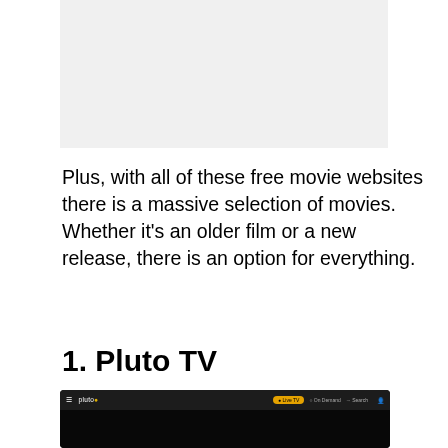[Figure (screenshot): Partially visible screenshot or image placeholder area (light gray background) at the top of the page]
Plus, with all of these free movie websites there is a massive selection of movies. Whether it’s an older film or a new release, there is an option for everything.
1. Pluto TV
[Figure (screenshot): Screenshot of the Pluto TV website interface showing a dark navigation bar with the Pluto logo, Live TV, On Demand, and Search navigation items, and a dark content area below]